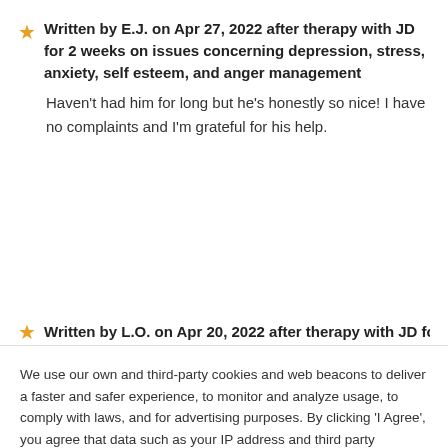Written by E.J. on Apr 27, 2022 after therapy with JD for 2 weeks on issues concerning depression, stress, anxiety, self esteem, and anger management
Haven't had him for long but he's honestly so nice! I have no complaints and I'm grateful for his help.
Written by L.O. on Apr 20, 2022 after therapy with JD for 2
We use our own and third-party cookies and web beacons to deliver a faster and safer experience, to monitor and analyze usage, to comply with laws, and for advertising purposes. By clicking 'I Agree', you agree that data such as your IP address and third party identifier may be shared with advertising partners to help us deliver more relevant ads. To update your settings or opt out, go to 'Cookie Settings'. To learn more read our Privacy Policy.